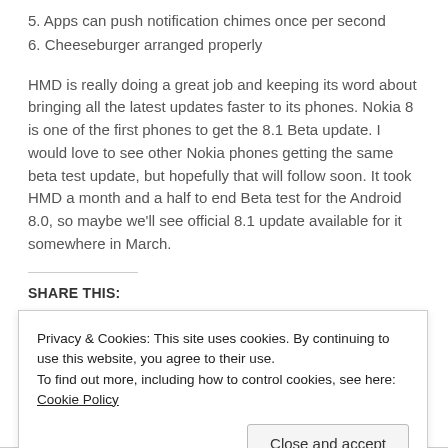5. Apps can push notification chimes once per second
6. Cheeseburger arranged properly
HMD is really doing a great job and keeping its word about bringing all the latest updates faster to its phones. Nokia 8 is one of the first phones to get the 8.1 Beta update. I would love to see other Nokia phones getting the same beta test update, but hopefully that will follow soon. It took HMD a month and a half to end Beta test for the Android 8.0, so maybe we’ll see official 8.1 update available for it somewhere in March.
SHARE THIS:
Facebook  Twitter  WhatsApp  Reddit
Privacy & Cookies: This site uses cookies. By continuing to use this website, you agree to their use.
To find out more, including how to control cookies, see here: Cookie Policy
Close and accept